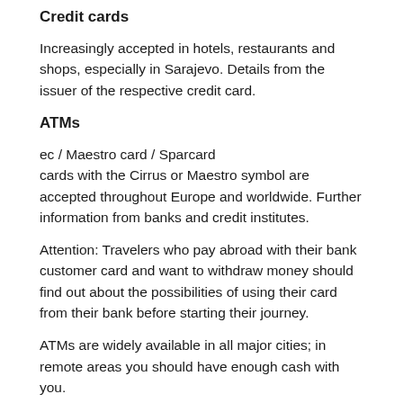Credit cards
Increasingly accepted in hotels, restaurants and shops, especially in Sarajevo. Details from the issuer of the respective credit card.
ATMs
ec / Maestro card / Sparcard
cards with the Cirrus or Maestro symbol are accepted throughout Europe and worldwide. Further information from banks and credit institutes.
Attention: Travelers who pay abroad with their bank customer card and want to withdraw money should find out about the possibilities of using their card from their bank before starting their journey.
ATMs are widely available in all major cities; in remote areas you should have enough cash with you.